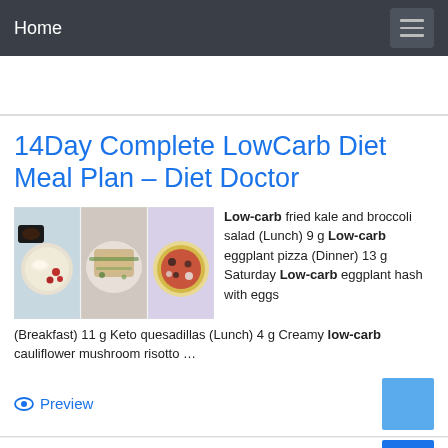Home
14Day Complete LowCarb Diet Meal Plan – Diet Doctor
[Figure (photo): Three food photos side by side: a breakfast plate with eggs and cherry tomatoes, a grilled chicken salad, and a pizza]
Low-carb fried kale and broccoli salad (Lunch) 9 g Low-carb eggplant pizza (Dinner) 13 g Saturday Low-carb eggplant hash with eggs (Breakfast) 11 g Keto quesadillas (Lunch) 4 g Creamy low-carb cauliflower mushroom risotto …
Preview